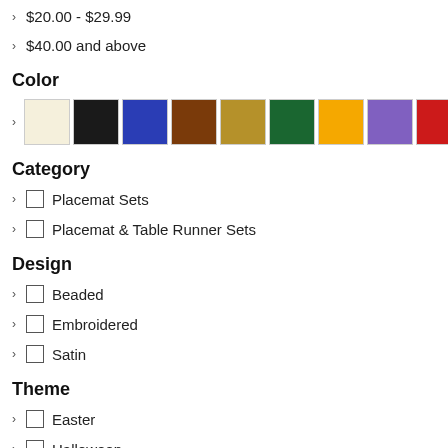$20.00 - $29.99
$40.00 and above
Color
[Figure (other): Color swatches: cream, black, blue, brown, gold/tan, dark green, orange, purple, red, light gray]
Category
Placemat Sets
Placemat & Table Runner Sets
Design
Beaded
Embroidered
Satin
Theme
Easter
Halloween